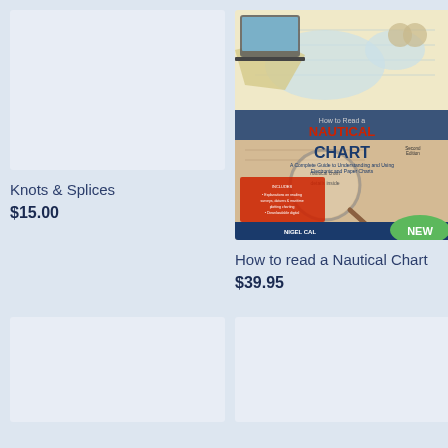[Figure (illustration): Blank/placeholder book cover image for Knots & Splices]
[Figure (illustration): Book cover of How to Read a Nautical Chart by Nigel Calder, Second Edition, showing nautical charts, compass, magnifying glass, with NEW badge]
Knots & Splices
$15.00
How to read a Nautical Chart
$39.95
[Figure (illustration): Blank/placeholder book cover image (bottom left)]
[Figure (illustration): Blank/placeholder book cover image (bottom right)]